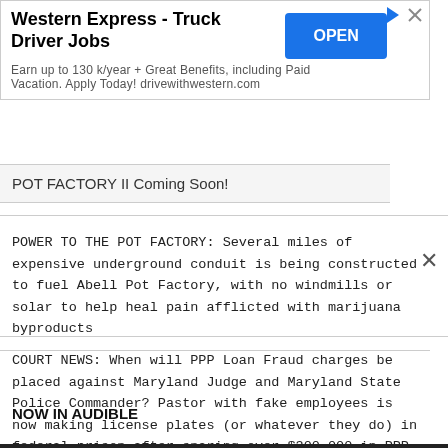[Figure (screenshot): Advertisement banner for Western Express Truck Driver Jobs with OPEN button]
POT FACTORY II Coming Soon!
POWER TO THE POT FACTORY: Several miles of expensive underground conduit is being constructed to fuel Abell Pot Factory, with no windmills or solar to help heal pain afflicted with marijuana byproducts
COURT NEWS: When will PPP Loan Fraud charges be placed against Maryland Judge and Maryland State Police Commander? Pastor with fake employees is now making license plates (or whatever they do) in federal prison after snaring over $300,000 in PPP scam
NOW IN AUDIBLE